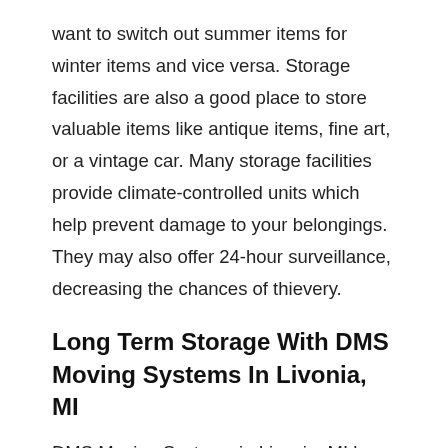want to switch out summer items for winter items and vice versa. Storage facilities are also a good place to store valuable items like antique items, fine art, or a vintage car. Many storage facilities provide climate-controlled units which help prevent damage to your belongings. They may also offer 24-hour surveillance, decreasing the chances of thievery.
Long Term Storage With DMS Moving Systems In Livonia, MI
DMS Moving Systems in Livonia, MI have over 60 years of experience in the moving and storage